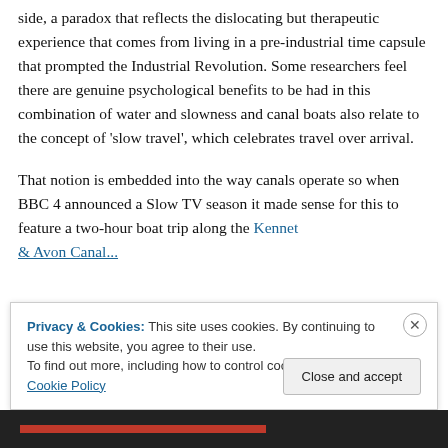side, a paradox that reflects the dislocating but therapeutic experience that comes from living in a pre-industrial time capsule that prompted the Industrial Revolution. Some researchers feel there are genuine psychological benefits to be had in this combination of water and slowness and canal boats also relate to the concept of 'slow travel', which celebrates travel over arrival.

That notion is embedded into the way canals operate so when BBC 4 announced a Slow TV season it made sense for this to feature a two-hour boat trip along the Kennet & Avon Canal...
Privacy & Cookies: This site uses cookies. By continuing to use this website, you agree to their use.
To find out more, including how to control cookies, see here: Cookie Policy